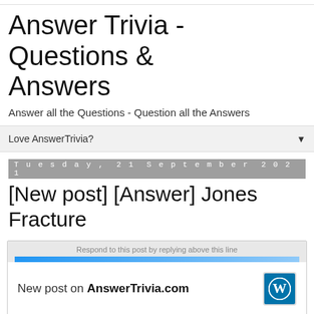Answer Trivia - Questions & Answers
Answer all the Questions - Question all the Answers
Love AnswerTrivia? ▼
Tuesday, 21 September 2021
[New post] [Answer] Jones Fracture
Respond to this post by replying above this line
New post on AnswerTrivia.com
[Answer] Jones Fracture
by answertrivia